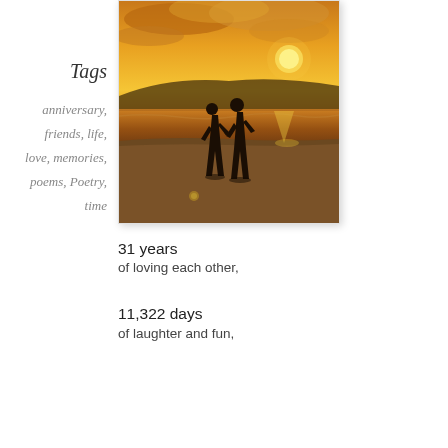Tags
anniversary, friends, life, love, memories, poems, Poetry, time
[Figure (photo): Two silhouetted people holding hands walking on a beach at sunset with orange and golden sky, hills in the background and reflections on the wet sand]
31 years
of loving each other,
11,322 days
of laughter and fun,